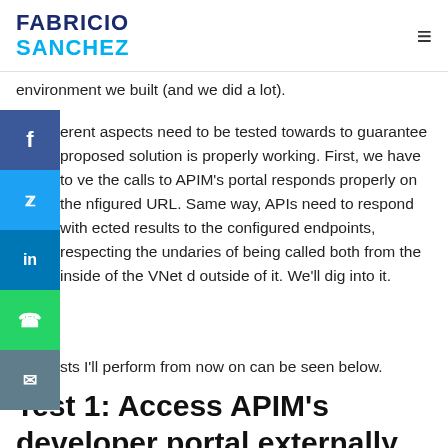FABRICIO SANCHEZ
environment we built (and we did a lot).
erent aspects need to be tested towards to guarantee proposed solution is properly working. First, we have to ve the calls to APIM's portal responds properly on the nfigured URL. Same way, APIs need to respond with ected results to the configured endpoints, respecting the undaries of being called both from the inside of the VNet d outside of it. We'll dig into it.
The tests I'll perform from now on can be seen below.
Test 1: Access APIM's developer portal externally